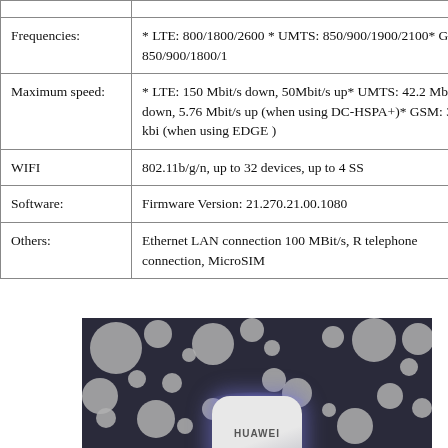| Property | Value |
| --- | --- |
|  |  |
| Frequencies: | * LTE: 800/1800/2600 * UMTS: 850/900/1900/2100* GSM: 850/900/1800/1 |
| Maximum speed: | * LTE: 150 Mbit/s down, 50Mbit/s up* UMTS: 42.2 Mbit/s down, 5.76 Mbit/s up (when using DC-HSPA+)* GSM: 384 kbi (when using EDGE ) |
| WIFI | 802.11b/g/n, up to 32 devices, up to 4 SS |
| Software: | Firmware Version: 21.270.21.00.1080 |
| Others: | Ethernet LAN connection 100 MBit/s, R telephone connection, MicroSIM |
[Figure (photo): Photo of a Huawei mobile WiFi/LTE device (router/dongle) with blue LED glow on a dark background with grey circular bubble pattern]